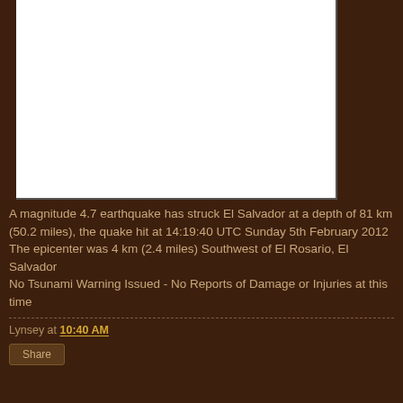[Figure (other): White image/map placeholder area with dark border on right and bottom sides]
A magnitude 4.7 earthquake has struck El Salvador at a depth of 81 km (50.2 miles), the quake hit at 14:19:40 UTC Sunday 5th February 2012
The epicenter was 4 km (2.4 miles) Southwest of El Rosario, El Salvador
No Tsunami Warning Issued - No Reports of Damage or Injuries at this time
Lynsey at 10:40 AM
Share